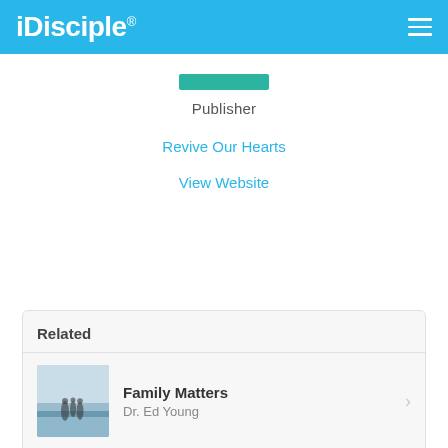iDisciple
Publisher
Revive Our Hearts
View Website
Related
Family Matters
Dr. Ed Young